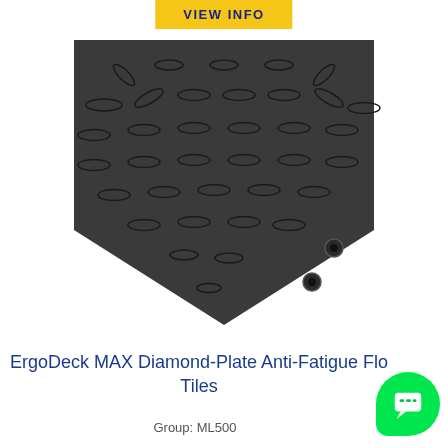VIEW INFO
[Figure (photo): Black diamond-plate anti-fatigue floor tile with interlocking connectors at the bottom right corner, shown on white background.]
ErgoDeck MAX Diamond-Plate Anti-Fatigue Floor Tiles
Group: ML500